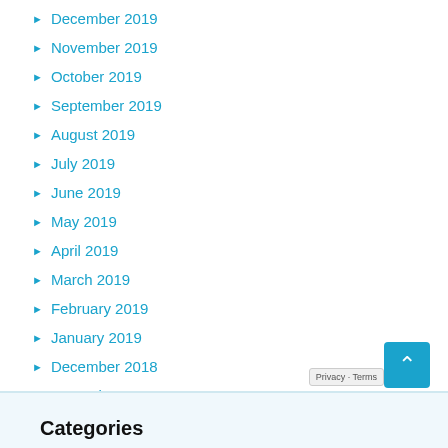December 2019
November 2019
October 2019
September 2019
August 2019
July 2019
June 2019
May 2019
April 2019
March 2019
February 2019
January 2019
December 2018
November 2018
August 2018
Categories